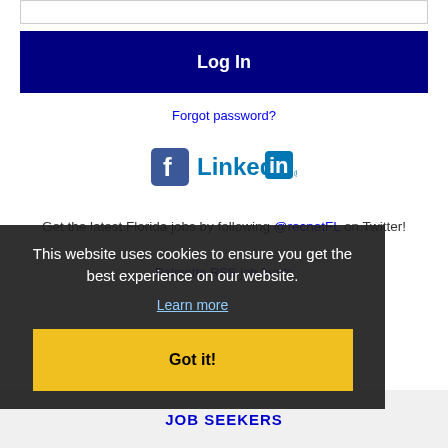[Figure (screenshot): Input text box (password or username field)]
Log In
Forgot password?
[Figure (logo): Facebook and LinkedIn social media icons]
Get the latest Florida jobs by following @recnetFL on Twitter!
Palmetto RSS job feeds
This website uses cookies to ensure you get the best experience on our website.
Learn more
Got it!
JOB SEEKERS